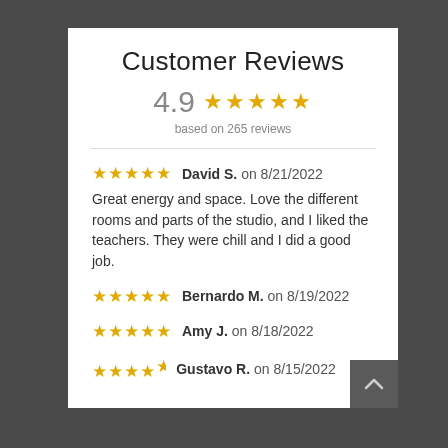Customer Reviews
4.9 ★★★★★ based on 265 reviews
★★★★★ David S. on 8/21/2022
Great energy and space. Love the different rooms and parts of the studio, and I liked the teachers. They were chill and I did a good job.
★★★★★ Bernardo M. on 8/19/2022
★★★★★ Amy J. on 8/18/2022
★★★★☆ Gustavo R. on 8/15/2022